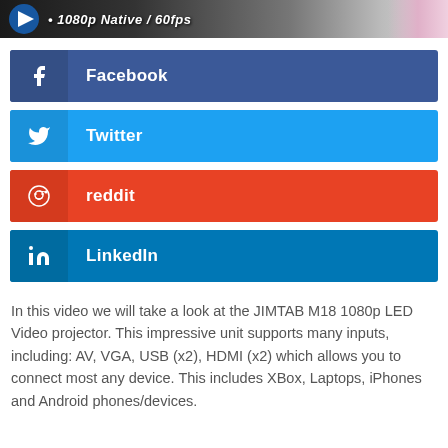[Figure (screenshot): Dark banner image showing '1080p Native / 60fps' text on a gradient background with a logo on the left]
Facebook
Twitter
reddit
LinkedIn
In this video we will take a look at the JIMTAB M18 1080p LED Video projector. This impressive unit supports many inputs, including: AV, VGA, USB (x2), HDMI (x2) which allows you to connect most any device. This includes XBox, Laptops, iPhones and Android phones/devices.